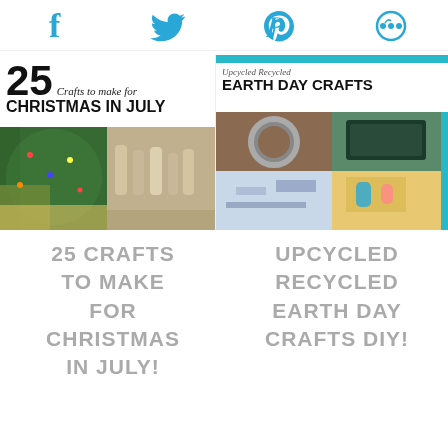Social share icons: Facebook, Twitter, Pinterest, Other
[Figure (photo): Circular cropped image for '25 Crafts to make for Christmas in July' blog post thumbnail with Christmas decorations photos]
[Figure (photo): Circular cropped image for 'Upcycled Recycled Earth Day Crafts DIY' blog post thumbnail with Earth Day craft photos]
25 CRAFTS TO MAKE FOR CHRISTMAS IN JULY!
UPCYCLED RECYCLED EARTH DAY CRAFTS DIY!